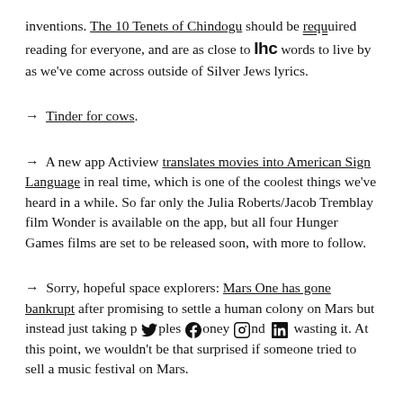inventions. The 10 Tenets of Chindogu should be required reading for everyone, and are as close to Ihc words to live by as we've come across outside of Silver Jews lyrics.
→ Tinder for cows.
→ A new app Actiview translates movies into American Sign Language in real time, which is one of the coolest things we've heard in a while. So far only the Julia Roberts/Jacob Tremblay film Wonder is available on the app, but all four Hunger Games films are set to be released soon, with more to follow.
→ Sorry, hopeful space explorers: Mars One has gone bankrupt after promising to settle a human colony on Mars but instead just taking peoples money and wasting it. At this point, we wouldn't be that surprised if someone tried to sell a music festival on Mars.